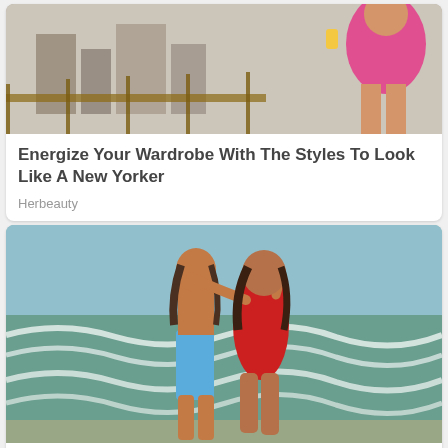[Figure (photo): Woman in pink top sitting on a rooftop or terrace with urban background, holding a drink]
Energize Your Wardrobe With The Styles To Look Like A New Yorker
Herbeauty
[Figure (photo): Couple kissing on a beach, man in blue swim trunks, woman in red swimsuit, ocean waves in background]
How To Define A Happy Couple If You Are Unacquainted To Them